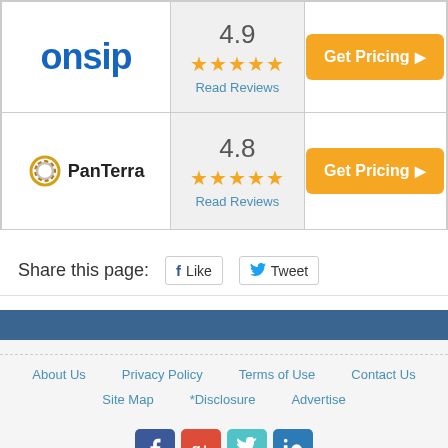| Vendor | Rating | Action |
| --- | --- | --- |
| onsip | 4.9 ★★★★★ Read Reviews | Get Pricing |
| PanTerra | 4.8 ★★★★★ Read Reviews | Get Pricing |
Share this page:
Like
Tweet
About Us | Privacy Policy | Terms of Use | Contact Us | Site Map | *Disclosure | Advertise